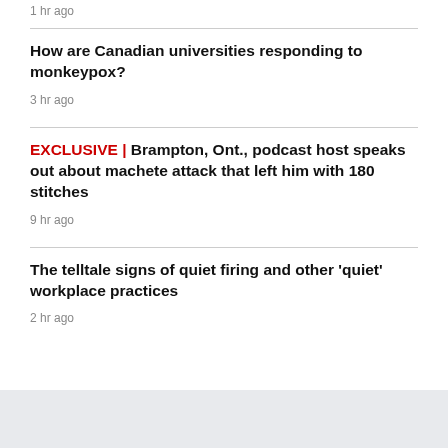1 hr ago
How are Canadian universities responding to monkeypox?
3 hr ago
EXCLUSIVE | Brampton, Ont., podcast host speaks out about machete attack that left him with 180 stitches
9 hr ago
The telltale signs of quiet firing and other 'quiet' workplace practices
2 hr ago